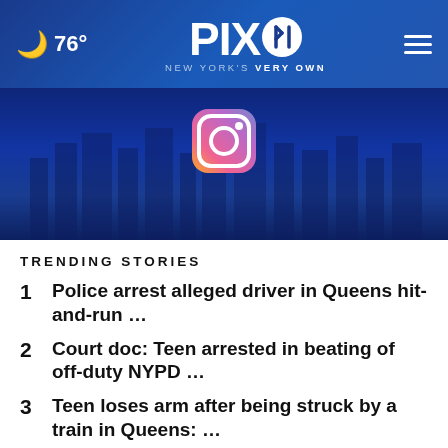76° PIX11 NEW YORK'S VERY OWN
[Figure (screenshot): Hero image with NYC skyline at night and Instagram icon overlay]
TRENDING STORIES
1 Police arrest alleged driver in Queens hit-and-run …
2 Court doc: Teen arrested in beating of off-duty NYPD …
3 Teen loses arm after being struck by a train in Queens: …
4 Suspect shoots bystander during a robbery attempt …